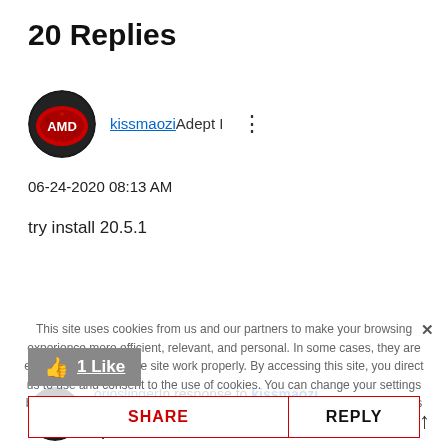20 Replies
kissmaozi Adept I
06-24-2020 08:13 AM
try install 20.5.1
1 Like
SHARE
REPLY
This site uses cookies from us and our partners to make your browsing experience more efficient, relevant, and personal. In some cases, they are essential to making the site work properly. By accessing this site, you direct us to use and consent to the use of cookies. You can change your settings by clicking on the cookie settings link. For more information, refer to AMD's privacy policy and cookie policy
orioslinger In response to kissmaozi Adept I